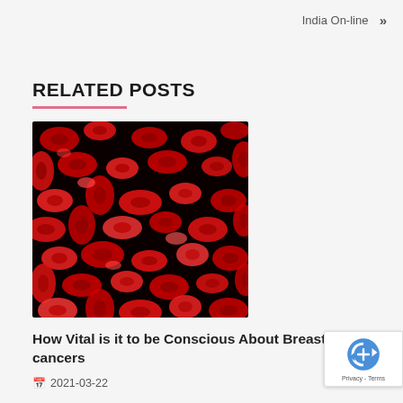India On-line »
RELATED POSTS
[Figure (photo): Microscopic image of red blood cells glowing bright red against a dark background]
How Vital is it to be Conscious About Breast Most cancers
2021-03-22